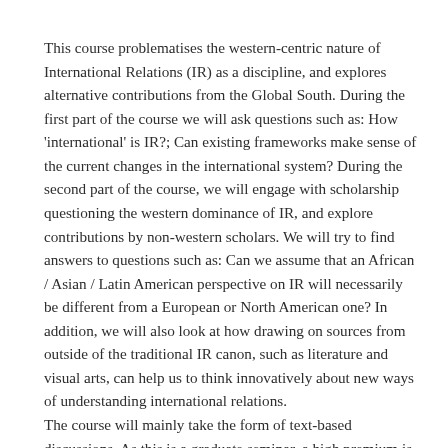This course problematises the western-centric nature of International Relations (IR) as a discipline, and explores alternative contributions from the Global South. During the first part of the course we will ask questions such as: How 'international' is IR?; Can existing frameworks make sense of the current changes in the international system? During the second part of the course, we will engage with scholarship questioning the western dominance of IR, and explore contributions by non-western scholars. We will try to find answers to questions such as: Can we assume that an African / Asian / Latin American perspective on IR will necessarily be different from a European or North American one? In addition, we will also look at how drawing on sources from outside of the traditional IR canon, such as literature and visual arts, can help us to think innovatively about new ways of understanding international relations.
The course will mainly take the form of text-based discussions. As this is a graduate seminar, a high premium is placed on